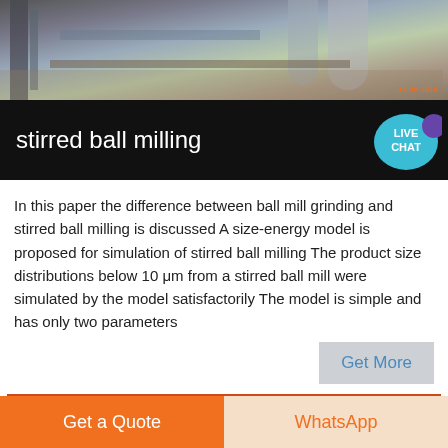[Figure (photo): Construction site photo showing industrial equipment, pipes, and scaffolding with a date stamp in the bottom right corner.]
stirred ball milling
In this paper the difference between ball mill grinding and stirred ball milling is discussed A size-energy model is proposed for simulation of stirred ball milling The product size distributions below 10 μm from a stirred ball mill were simulated by the model satisfactorily The model is simple and has only two parameters
[Figure (photo): Partial view of industrial or construction site, partially visible at the bottom of the page.]